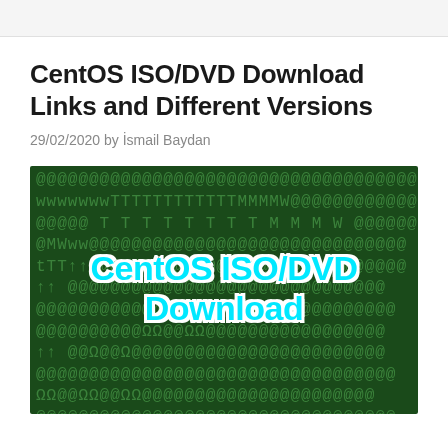CentOS ISO/DVD Download Links and Different Versions
29/02/2020 by İsmail Baydan
[Figure (photo): Dark green matrix-style background image with characters/symbols and overlay text reading 'CentOS ISO/DVD Download' in bold cyan color with white outline]